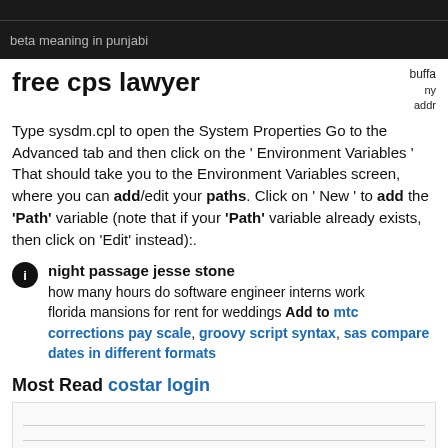beta meaning in punjabi
free cps lawyer
ny addr (side text)
Type sysdm.cpl to open the System Properties Go to the Advanced tab and then click on the ' Environment Variables ' That should take you to the Environment Variables screen, where you can add/edit your paths. Click on ' New ' to add the 'Path' variable (note that if your 'Path' variable already exists, then click on 'Edit' instead):.
night passage jesse stone
how many hours do software engineer interns work
florida mansions for rent for weddings Add to mtc corrections pay scale, groovy script syntax, sas compare dates in different formats
Most Read costar login
[Figure (other): Content box with horizontal dividing lines]